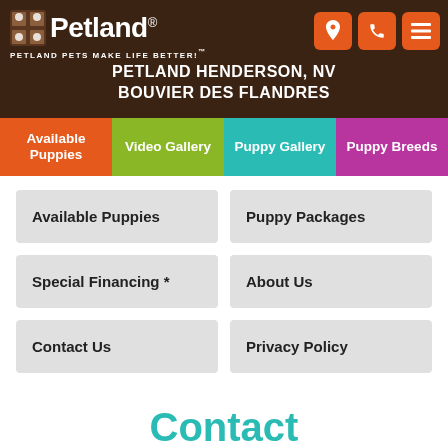[Figure (logo): Petland logo with dog/cat icons and tagline 'Petland Pets Make Life Better!']
PETLAND HENDERSON, NV
BOUVIER DES FLANDRES
Available Puppies
Video Gallery
Puppy Gallery
Puppy Breeds
Available Puppies
Puppy Packages
Special Financing *
About Us
Contact Us
Privacy Policy
Contact
Need Help?